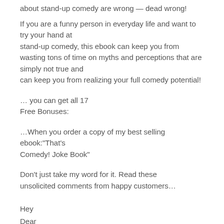about stand-up comedy are wrong — dead wrong!
If you are a funny person in everyday life and want to try your hand at stand-up comedy, this ebook can keep you from wasting tons of time on myths and perceptions that are simply not true and can keep you from realizing your full comedy potential!
… you can get all 17 Free Bonuses:
…When you order a copy of my best selling ebook:"That's Comedy! Joke Book"
Don't just take my word for it. Read these unsolicited comments from happy customers…
Hey
Dear